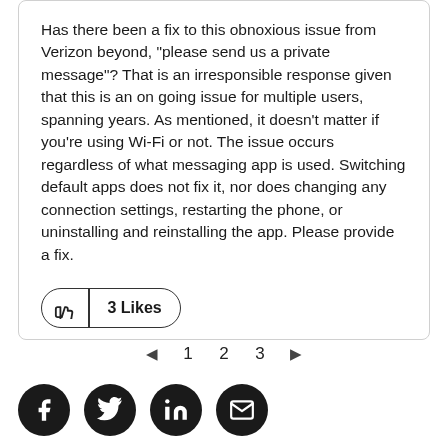Has there been a fix to this obnoxious issue from Verizon beyond, "please send us a private message"? That is an irresponsible response given that this is an on going issue for multiple users, spanning years. As mentioned, it doesn't matter if you're using Wi-Fi or not. The issue occurs regardless of what messaging app is used. Switching default apps does not fix it, nor does changing any connection settings, restarting the phone, or uninstalling and reinstalling the app. Please provide a fix.
[Figure (other): Like button with thumbs-up icon and '3 Likes' label]
◄  1  2  3  ►
[Figure (other): Social media share icons: Facebook, Twitter, LinkedIn, Email]